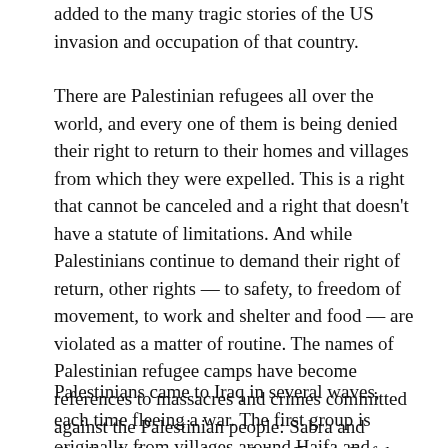added to the many tragic stories of the US invasion and occupation of that country.
There are Palestinian refugees all over the world, and every one of them is being denied their right to return to their homes and villages from which they were expelled. This is a right that cannot be canceled and a right that doesn't have a statute of limitations. And while Palestinians continue to demand their right of return, other rights — to safety, to freedom of movement, to work and shelter and food — are violated as a matter of routine. The names of Palestinian refugee camps have become references to massacres and crimes committed against the Palestinian people: Sabra and Shatila (Lebanon), Jenin (West Bank), Rafah (Gaza) and today we add Al-Tanaf, Al-Hol, Al-Walid and Al-Ruweished.
Palestinians came to Iraq in several waves, each time fleeing a war. The first group is originally from villages around Haifa and Yaffa. They resisted the initial Israeli attacks on their